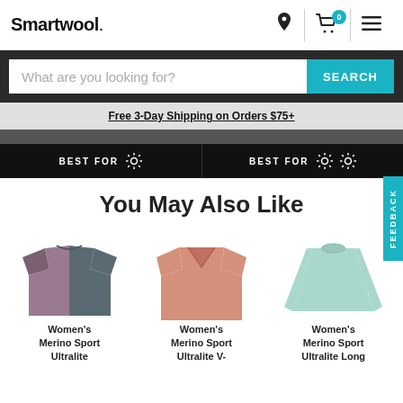Smartwool.
What are you looking for? SEARCH
Free 3-Day Shipping on Orders $75+
BEST FOR   BEST FOR
You May Also Like
[Figure (photo): Women's Merino Sport Ultralite short sleeve shirt in mauve/slate colorblock]
Women's Merino Sport Ultralite
[Figure (photo): Women's Merino Sport Ultralite V-neck short sleeve shirt in salmon pink]
Women's Merino Sport Ultralite V-
[Figure (photo): Women's Merino Sport Ultralite Long sleeve shirt in light mint/seafoam]
Women's Merino Sport Ultralite Long